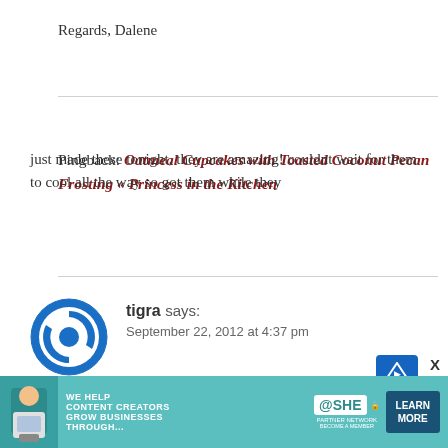Regards, Dalene
Pingback: Oatmeal Cupcakes with Toasted Coconut Pecan Frosting « Princess in the Kitchen
tigra says: September 22, 2012 at 4:37 pm
just made these tonight, they are amazing! couldnt wait for them to cool all the way so got them while they
[Figure (infographic): SHE Partner Network advertisement banner at bottom of page with text: WE HELP CONTENT CREATORS GROW BUSINESSES THROUGH... and LEARN MORE button]